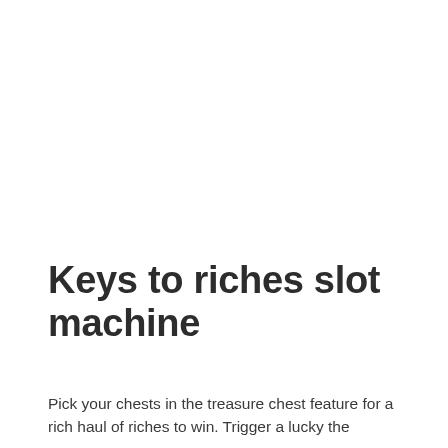Keys to riches slot machine
Pick your chests in the treasure chest feature for a rich haul of riches to win. Trigger a lucky the